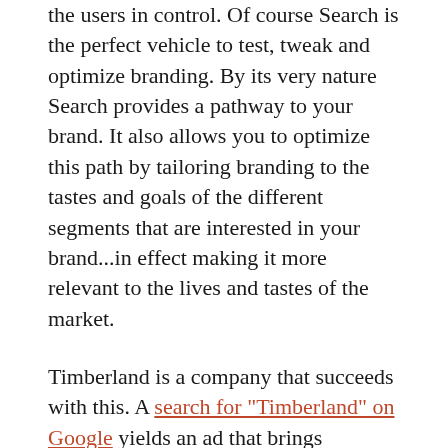the users in control. Of course Search is the perfect vehicle to test, tweak and optimize branding. By its very nature Search provides a pathway to your brand. It also allows you to optimize this path by tailoring branding to the tastes and goals of the different segments that are interested in your brand...in effect making it more relevant to the lives and tastes of the market.
Timberland is a company that succeeds with this. A search for "Timberland" on Google yields an ad that brings attention to the official site, some promotional messaging around free shipping and returns and leads to the homepage where users can self segment further by their interest. There is of course another really large segment of users that engage with the Timberland brand in a different manner and understandably Timberland desires to have a different brand